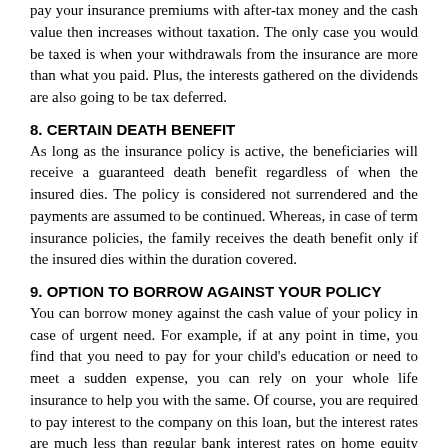pay your insurance premiums with after-tax money and the cash value then increases without taxation. The only case you would be taxed is when your withdrawals from the insurance are more than what you paid. Plus, the interests gathered on the dividends are also going to be tax deferred.
8. CERTAIN DEATH BENEFIT
As long as the insurance policy is active, the beneficiaries will receive a guaranteed death benefit regardless of when the insured dies. The policy is considered not surrendered and the payments are assumed to be continued. Whereas, in case of term insurance policies, the family receives the death benefit only if the insured dies within the duration covered.
9. OPTION TO BORROW AGAINST YOUR POLICY
You can borrow money against the cash value of your policy in case of urgent need. For example, if at any point in time, you find that you need to pay for your child's education or need to meet a sudden expense, you can rely on your whole life insurance to help you with the same. Of course, you are required to pay interest to the company on this loan, but the interest rates are much less than regular bank interest rates on home equity lines. In fact, the loan can be repaid when the